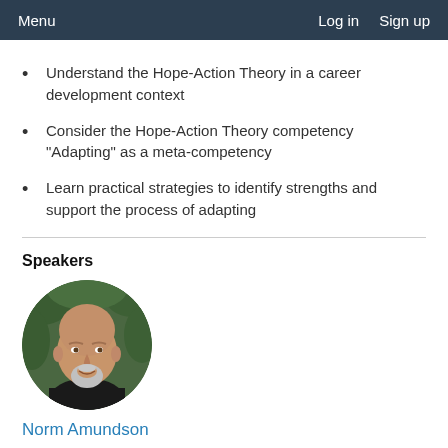Menu   Log in   Sign up
Understand the Hope-Action Theory in a career development context
Consider the Hope-Action Theory competency "Adapting" as a meta-competency
Learn practical strategies to identify strengths and support the process of adapting
Speakers
[Figure (photo): Circular headshot photo of Norm Amundson, a middle-aged bald man with a grey goatee, wearing a black shirt, with green foliage background]
Norm Amundson
Professor Emeritus | Professeur émérite, University of British Columbia | Université de la Colombie-Britannique